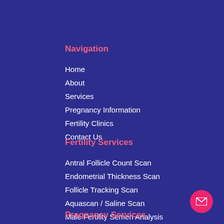Navigation
Home
About
Services
Pregnancy Information
Fertility Clinics
Contact Us
Fertility Services
Antral Follicle Count Scan
Endometrial Thickness Scan
Follicle Tracking Scan
Aquascan / Saline Scan
Male Fertility Semen Analysis
View All
Pregnancy Services